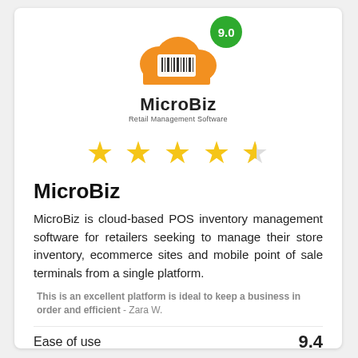[Figure (logo): MicroBiz cloud POS logo: orange cloud shape with barcode icon, 'MicroBiz' text below, 'Retail Management Software' subtitle, green circle badge showing score 9.0]
[Figure (other): 4.5 star rating displayed as 4 full gold stars and 1 half gold/gray star]
MicroBiz
MicroBiz is cloud-based POS inventory management software for retailers seeking to manage their store inventory, ecommerce sites and mobile point of sale terminals from a single platform.
This is an excellent platform is ideal to keep a business in order and efficient - Zara W.
Ease of use   9.4